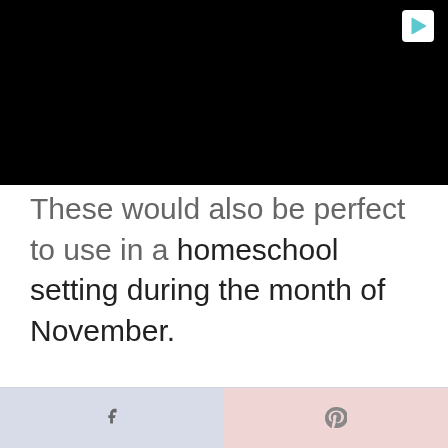[Figure (screenshot): Black video/image area with a play button icon in the top right corner]
These would also be perfect to use in a homeschool setting during the month of November.
Facebook share button | Pinterest share button